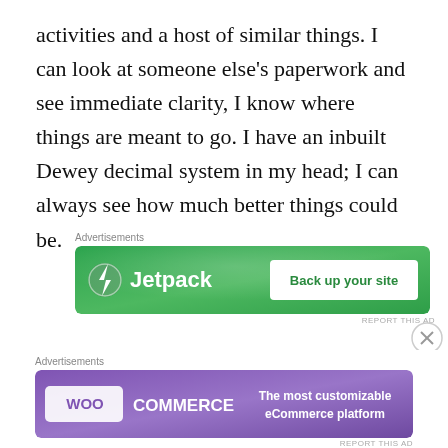activities and a host of similar things. I can look at someone else's paperwork and see immediate clarity, I know where things are meant to go. I have an inbuilt Dewey decimal system in my head; I can always see how much better things could be.
[Figure (screenshot): Jetpack advertisement banner with green background, Jetpack logo on left, and 'Back up your site' button on right]
So thinking back to how I felt about
[Figure (screenshot): WooCommerce advertisement banner with purple background and text 'The most customizable eCommerce platform']